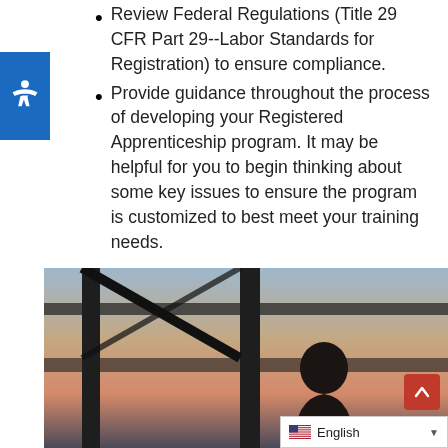Review Federal Regulations (Title 29 CFR Part 29--Labor Standards for Registration) to ensure compliance.
Provide guidance throughout the process of developing your Registered Apprenticeship program. It may be helpful for you to begin thinking about some key issues to ensure the program is customized to best meet your training needs.
[Figure (photo): A photo showing a silhouette of a person viewed through a window with metal framing, with a warm sunset/twilight sky in the background.]